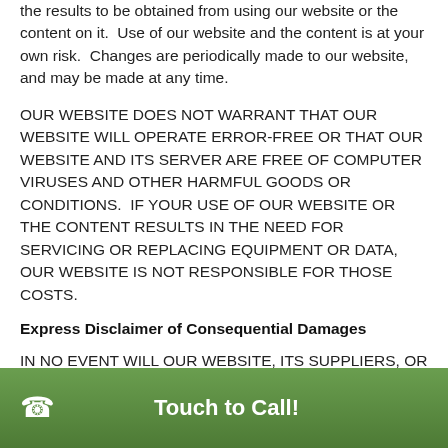the results to be obtained from using our website or the content on it.  Use of our website and the content is at your own risk.  Changes are periodically made to our website, and may be made at any time.
OUR WEBSITE DOES NOT WARRANT THAT OUR WEBSITE WILL OPERATE ERROR-FREE OR THAT OUR WEBSITE AND ITS SERVER ARE FREE OF COMPUTER VIRUSES AND OTHER HARMFUL GOODS OR CONDITIONS.  IF YOUR USE OF OUR WEBSITE OR THE CONTENT RESULTS IN THE NEED FOR SERVICING OR REPLACING EQUIPMENT OR DATA, OUR WEBSITE IS NOT RESPONSIBLE FOR THOSE COSTS.
Express Disclaimer of Consequential Damages
IN NO EVENT WILL OUR WEBSITE, ITS SUPPLIERS, OR ANY THIRD PARTIES MENTIONED AT OUR WEBSITE BE LIABLE FOR (I) ANY INCIDENTAL, CONSEQUENTIAL, INDIRECT  OR OTHER DAMAGES (INCLUDING, BUT NOT LIMITED TO,
Touch to Call!